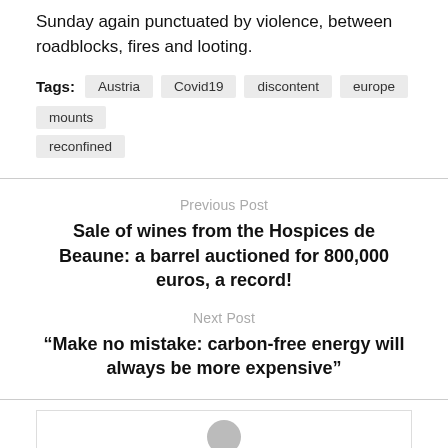Sunday again punctuated by violence, between roadblocks, fires and looting.
Tags: Austria Covid19 discontent europe mounts reconfined
Previous Post
Sale of wines from the Hospices de Beaune: a barrel auctioned for 800,000 euros, a record!
Next Post
“Make no mistake: carbon-free energy will always be more expensive”